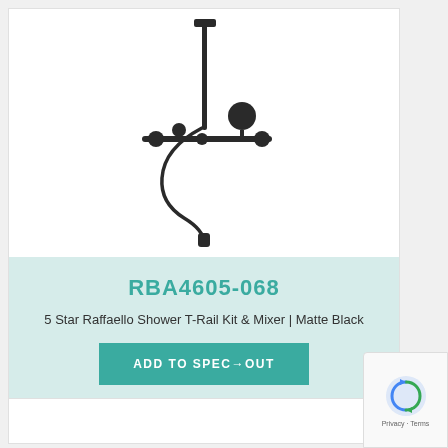[Figure (illustration): Product image of a 5 Star Raffaello Shower T-Rail Kit with mixer in matte black finish, showing a vertical rail with horizontal crossbar, hand shower, wall-mounted controls and round knob handle]
RBA4605-068
5 Star Raffaello Shower T-Rail Kit & Mixer | Matte Black
ADD TO SPEC→OUT